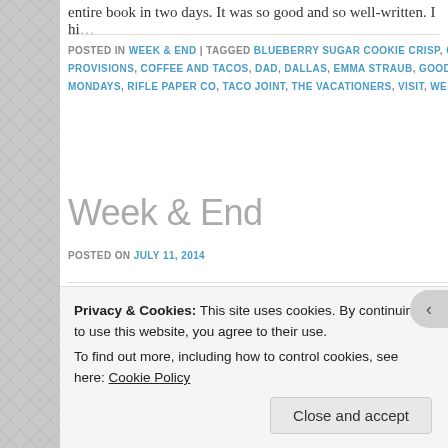entire book in two days. It was so good and so well-written. I hi…
POSTED IN WEEK & END | TAGGED BLUEBERRY SUGAR COOKIE CRISP, C… PROVISIONS, COFFEE AND TACOS, DAD, DALLAS, EMMA STRAUB, GOOD… MONDAYS, RIFLE PAPER CO, TACO JOINT, THE VACATIONERS, VISIT, WEE…
Week & End
POSTED ON JULY 11, 2014
[Figure (photo): Blue image placeholder for a blog post]
Privacy & Cookies: This site uses cookies. By continuing to use this website, you agree to their use. To find out more, including how to control cookies, see here: Cookie Policy
Close and accept